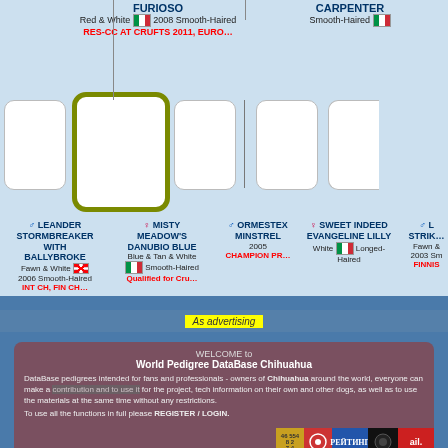FURIOSO
Red & White 🇮🇹 2008 Smooth-Haired
RES-CC AT CRUFTS 2011, EURO…
CARPENTER
Smooth-Haired 🇮🇹
[Figure (infographic): Pedigree chart showing dog ancestry with photo boxes and highlighted selected dog. Contains gender symbols and flag icons for Italy and England.]
♂ LEANDER STORMBREAKER WITH BALLYBROKE
Fawn & White 🏴󠁧󠁢󠁥󠁮󠁧󠁿 2006 Smooth-Haired
INT CH, FIN CH…
♀ MISTY MEADOW'S DANUBIO BLUE
Blue & Tan & White 🇮🇹 Smooth-Haired
Qualified for Cru…
♂ ORMESTEX MINSTREL
2005
CHAMPION PR…
♀ SWEET INDEED EVANGELINE LILLY
White 🇮🇹 Longed-Haired
♂ L STRIK…
Fawn &
2003 Sm
FINNIS
As advertising
WELCOME to
World Pedigree DataBase Chihuahua
DataBase pedigrees intended for fans and professionals - owners of Chihuahua around the world, everyone can make a contribution and to use it for the project, tech information on their own and other dogs, as well as to use the materials at the same time without any restrictions.
To use all the functions in full please REGISTER / LOGIN.